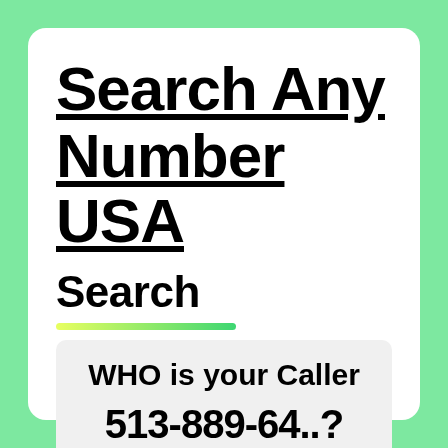Search Any Number USA
Search
[Figure (other): A yellow-to-green gradient horizontal bar]
WHO is your Caller
513-889-64..?